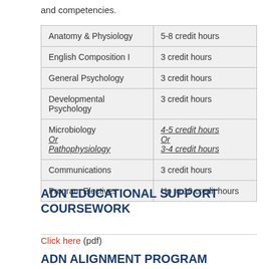and competencies.
| Anatomy & Physiology | 5-8 credit hours |
| English Composition I | 3 credit hours |
| General Psychology | 3 credit hours |
| Developmental Psychology | 3 credit hours |
| Microbiology
Or
Pathophysiology | 4-5 credit hours
Or
3-4 credit hours |
| Communications | 3 credit hours |
| Program Electives | Up to 10 credit hours |
ADN EDUCATIONAL SUPPORT COURSEWORK
Click here (pdf)
ADN ALIGNMENT PROGRAM